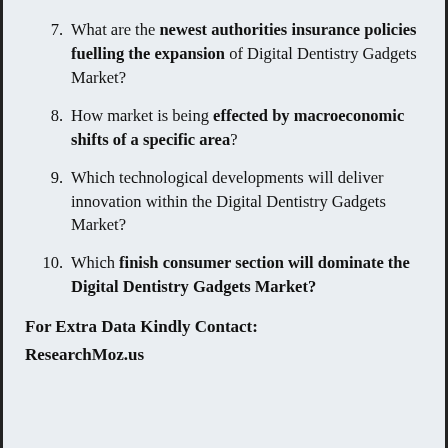7. What are the newest authorities insurance policies fuelling the expansion of Digital Dentistry Gadgets Market?
8. How market is being effected by macroeconomic shifts of a specific area?
9. Which technological developments will deliver innovation within the Digital Dentistry Gadgets Market?
10. Which finish consumer section will dominate the Digital Dentistry Gadgets Market?
For Extra Data Kindly Contact:
ResearchMoz.us